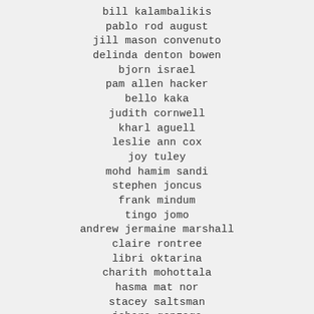bill kalambalikis
pablo rod august
jill mason convenuto
delinda denton bowen
bjorn israel
pam allen hacker
bello kaka
judith cornwell
kharl aguell
leslie ann cox
joy tuley
mohd hamim sandi
stephen joncus
frank mindum
tingo jomo
andrew jermaine marshall
claire rontree
libri oktarina
charith mohottala
hasma mat nor
stacey saltsman
johara gonzaga
maria evelia irinco aba
scott schofer